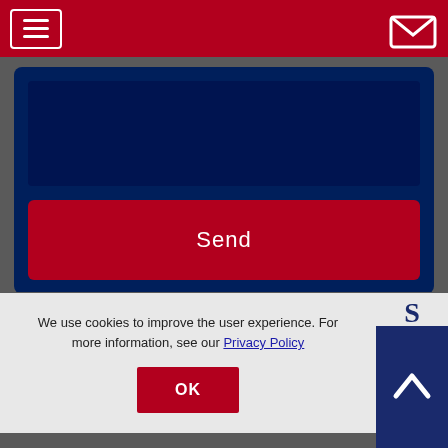[Figure (screenshot): Red header navigation bar with hamburger menu icon on left and mail/envelope icon on right, on a crimson red background.]
[Figure (screenshot): Dark navy blue form container with a large text input area and a crimson 'Send' button, set against a dark gray background.]
We use cookies to improve the user experience. For more information, see our Privacy Policy
OK
[Figure (screenshot): Back to top button — dark navy square with white upward chevron arrow, with letter S above it.]